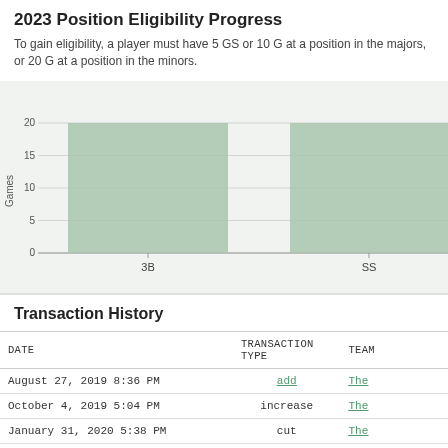2023 Position Eligibility Progress
To gain eligibility, a player must have 5 GS or 10 G at a position in the majors, or 20 G at a position in the minors.
[Figure (bar-chart): 2023 Position Eligibility Progress]
Transaction History
| DATE | TRANSACTION TYPE | TEAM |
| --- | --- | --- |
| August 27, 2019 8:36 PM | add | The |
| October 4, 2019 5:04 PM | increase | The |
| January 31, 2020 5:38 PM | cut | The |